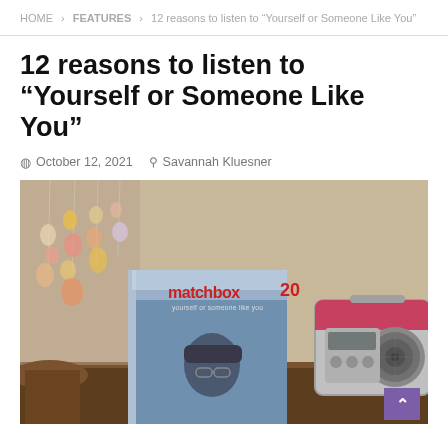HOME > FEATURES > 12 reasons to listen to “Yourself or Someone Like You”
12 reasons to listen to “Yourself or Someone Like You”
October 12, 2021   Savannah Kluesner
[Figure (photo): A Matchbox 20 CD (20th anniversary edition of 'Yourself or Someone Like You') propped up in front of a pink/red portable CD boombox, with crystal bead decorations hanging in the background on the left, on a wooden surface.]